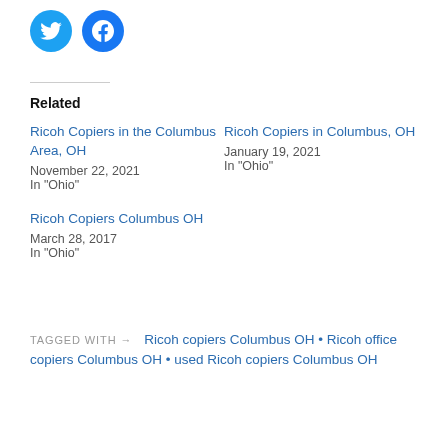[Figure (logo): Twitter and Facebook social media icon circles]
Related
Ricoh Copiers in the Columbus Area, OH
November 22, 2021
In "Ohio"
Ricoh Copiers in Columbus, OH
January 19, 2021
In "Ohio"
Ricoh Copiers Columbus OH
March 28, 2017
In "Ohio"
TAGGED WITH → Ricoh copiers Columbus OH • Ricoh office copiers Columbus OH • used Ricoh copiers Columbus OH